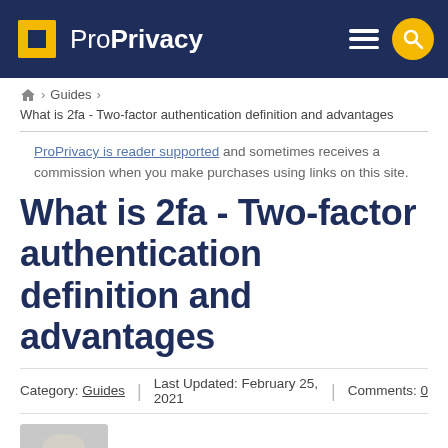ProPrivacy
Home > Guides > What is 2fa - Two-factor authentication definition and advantages
ProPrivacy is reader supported and sometimes receives a commission when you make purchases using links on this site.
What is 2fa - Two-factor authentication definition and advantages
Category: Guides | Last Updated: February 25, 2021 | Comments: 0
Written by River Hart